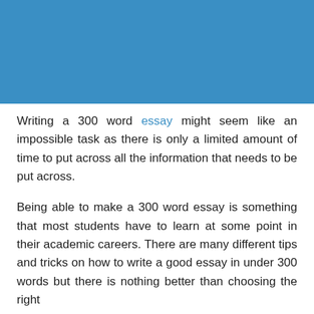[Figure (other): Blue rectangular banner image at the top of the page]
Writing a 300 word essay might seem like an impossible task as there is only a limited amount of time to put across all the information that needs to be put across.
Being able to make a 300 word essay is something that most students have to learn at some point in their academic careers. There are many different tips and tricks on how to write a good essay in under 300 words but there is nothing better than choosing the right